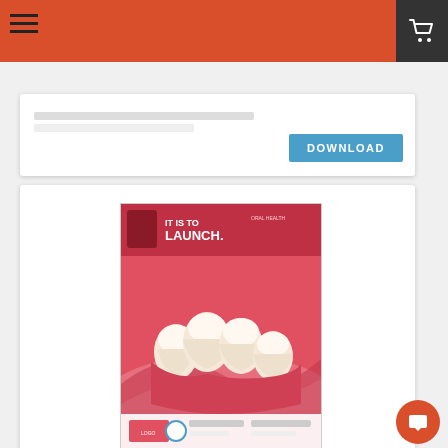Navigation header with hamburger menu and cart icon
[Figure (screenshot): Download button for a previous item (partially visible card at top)]
[Figure (illustration): Dental poster thumbnail showing 3D teeth or tooth close up with red background and 'IT IS TO LAUNCH' text]
3D teeth or tooth close up
DOWNLOAD
We use cookies to enhance your experience. By continuing to visit this site you agree to our use of cookies. More info
Got it!